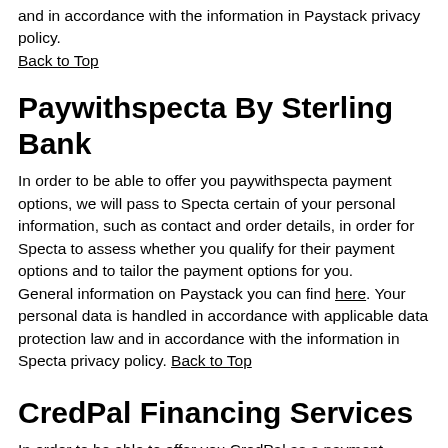and in accordance with the information in Paystack privacy policy. Back to Top
Paywithspecta By Sterling Bank
In order to be able to offer you paywithspecta payment options, we will pass to Specta certain of your personal information, such as contact and order details, in order for Specta to assess whether you qualify for their payment options and to tailor the payment options for you.
General information on Paystack you can find here. Your personal data is handled in accordance with applicable data protection law and in accordance with the information in Specta privacy policy. Back to Top
CredPal Financing Services
In order to be able to offer you CredPal as a payment method, we will pass to CredPal certain personal information, such as contact and order details, in order for CredPal to assess whether you qualify for their services and to provide the services to you.
General information on CredPal can be found here. Your personal data is handled in accordance with applicable data protection law